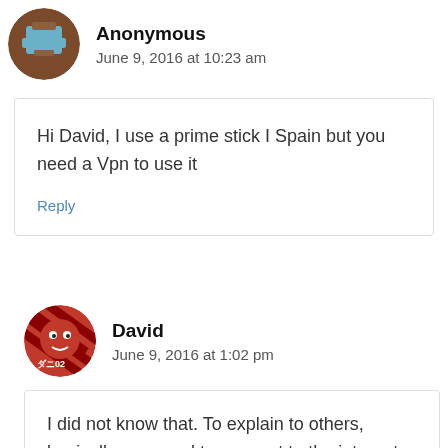Anonymous
June 9, 2016 at 10:23 am
Hi David, I use a prime stick I Spain but you need a Vpn to use it
Reply
David
June 9, 2016 at 1:02 pm
I did not know that. To explain to others, basically you need to connect to the internet through a VPN and Prime Members (MTX)...